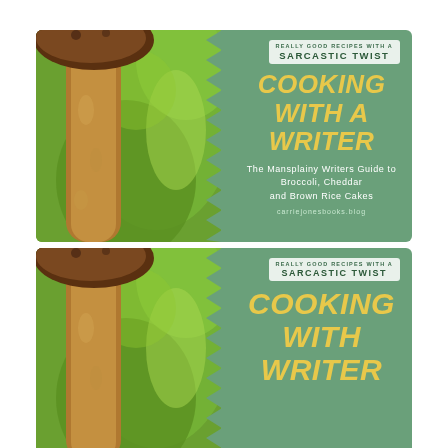[Figure (illustration): Book/blog banner for 'Cooking With A Writer'. Left side shows close-up photo of mushrooms and green leafy vegetables. Right side is teal/sage green with text: 'Really Good Recipes With A Sarcastic Twist', 'COOKING WITH A WRITER', 'The Mansplainy Writers Guide to Broccoli, Cheddar and Brown Rice Cakes', 'carriejonesbooks.blog'. Full banner visible.]
[Figure (illustration): Same banner as above but cropped - showing only the top portion. The website URL and subtitle are cut off. Shows 'Really Good Recipes With A Sarcastic Twist', 'COOKING WITH A WRITER' partially visible.]